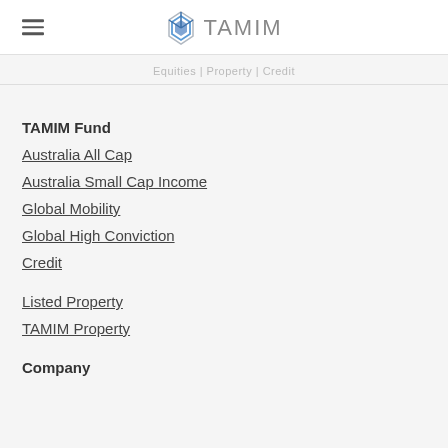TAMIM
Equities | Property | Credit
TAMIM Fund
Australia All Cap
Australia Small Cap Income
Global Mobility
Global High Conviction
Credit
Listed Property
TAMIM Property
Company